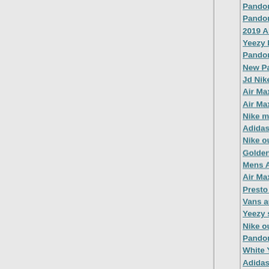Pandora flower ring
Pandora hearts
2019 Air Jordan releases
Yeezy Boost black
Pandora coupons code 2019
New Pandora charms
Jd Nike trainers
Air Max trainers
Air Max 2019
Nike metcon 4
Adidas Superstar pink
Nike outlet folsom
Golden state Warriors hoodie
Mens Adidas trainers
Air Max 95 solar red
Presto fly
Vans authentic Off White
Yeezy shoes
Nike outlet store
Pandora love charms
White Yeezys
Adidas flux
Nike zoom structure
Nike
Adidas tubular red
Adidas Superstar toddler
Yeezy
Off White Air Max 97
Nike Air Max red and white
Ultra Boost 2.0 multicolor
Black dodgers jersey
Nike wide shoes
Nike Air Max plus white
[url=https://www.nike-stores.us...
Air Max 2019 womens
Nike vapor max
Lebron James shoes 2019
Nike...